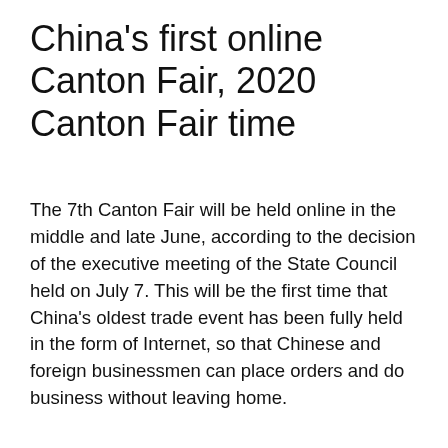China's first online Canton Fair, 2020 Canton Fair time
The 7th Canton Fair will be held online in the middle and late June, according to the decision of the executive meeting of the State Council held on July 7. This will be the first time that China's oldest trade event has been fully held in the form of Internet, so that Chinese and foreign businessmen can place orders and do business without leaving home.
At present, the novel coronavirus pneumonia epidemic is spreading all over the world, and the situation is grim. The meeting decided to invite customers at home and